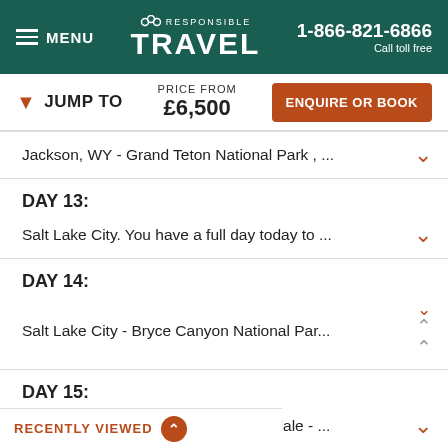MENU | RESPONSIBLE TRAVEL | 1-866-821-6866 Call toll free
JUMP TO | PRICE FROM £6,500 | ENQUIRE OR BOOK
Jackson, WY - Grand Teton National Park , ...
DAY 13:
Salt Lake City. You have a full day today to ...
DAY 14:
Salt Lake City - Bryce Canyon National Par...
DAY 15:
Bryce Canyon National Park , Springdale - ...
RECENTLY VIEWED